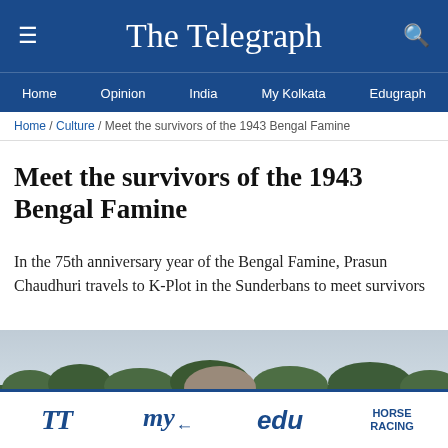The Telegraph
Home / Opinion / India / My Kolkata / Edugraph
Home / Culture / Meet the survivors of the 1943 Bengal Famine
Meet the survivors of the 1943 Bengal Famine
In the 75th anniversary year of the Bengal Famine, Prasun Chaudhuri travels to K-Plot in the Sunderbans to meet survivors
[Figure (photo): Outdoor photograph showing an elderly person with white hair in the foreground, with mangrove trees and a cloudy sky in the background, at a location in the Sunderbans]
TT / my / edu / HORSE RACING